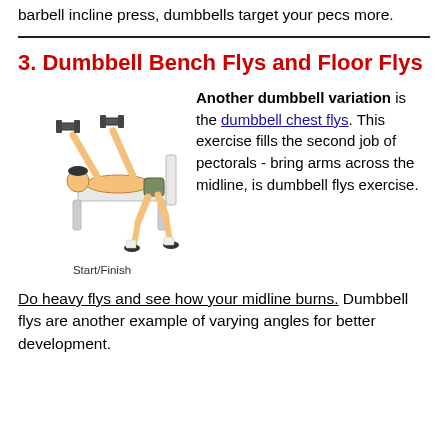barbell incline press, dumbbells target your pecs more.
3. Dumbbell Bench Flys and Floor Flys
[Figure (illustration): Illustration of a person lying on a bench performing dumbbell chest flys exercise. The person is shown at the Start/Finish position with arms raised holding dumbbells.]
Start/Finish
Another dumbbell variation is the dumbbell chest flys. This exercise fills the second job of pectorals - bring arms across the midline, is dumbbell flys exercise.
Do heavy flys and see how your midline burns. Dumbbell flys are another example of varying angles for better development.